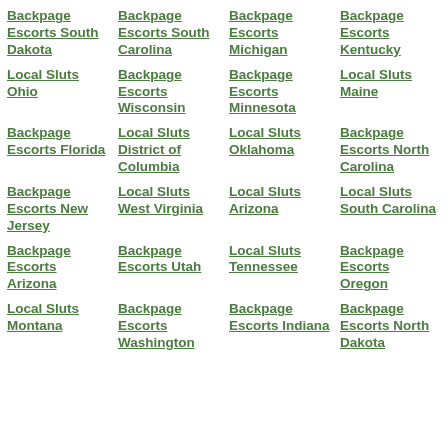Backpage Escorts South Dakota
Backpage Escorts South Carolina
Backpage Escorts Michigan
Backpage Escorts Kentucky
Local Sluts Ohio
Backpage Escorts Wisconsin
Backpage Escorts Minnesota
Local Sluts Maine
Backpage Escorts Florida
Local Sluts District of Columbia
Local Sluts Oklahoma
Backpage Escorts North Carolina
Backpage Escorts New Jersey
Local Sluts West Virginia
Local Sluts Arizona
Local Sluts South Carolina
Backpage Escorts Arizona
Backpage Escorts Utah
Local Sluts Tennessee
Backpage Escorts Oregon
Local Sluts Montana
Backpage Escorts Washington
Backpage Escorts Indiana
Backpage Escorts North Dakota